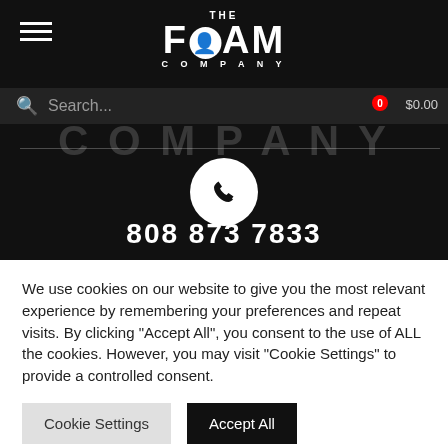[Figure (screenshot): The Foam Company website header with logo, hamburger menu, search bar, cart icon showing 0 items and $0.00, decorative large letters spelling COMPANY, phone icon in white circle, and phone number 808 873 7833]
We use cookies on our website to give you the most relevant experience by remembering your preferences and repeat visits. By clicking "Accept All", you consent to the use of ALL the cookies. However, you may visit "Cookie Settings" to provide a controlled consent.
Cookie Settings
Accept All